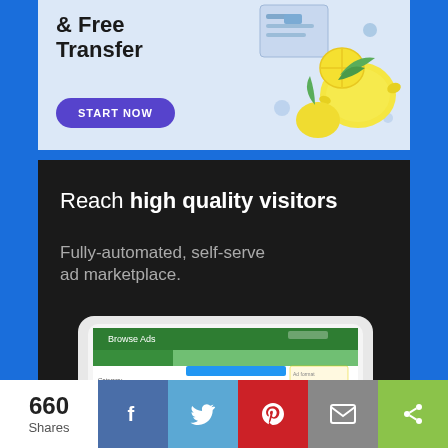[Figure (screenshot): Top advertisement banner with light blue background showing '& Free Transfer' bold text, a 'START NOW' purple button, and illustrated lemons on the right side]
[Figure (screenshot): Dark advertisement banner reading 'Reach high quality visitors — Fully-automated, self-serve ad marketplace.' with a tablet mockup showing a 'Browse Ads' interface and a hand holding the tablet]
660 Shares